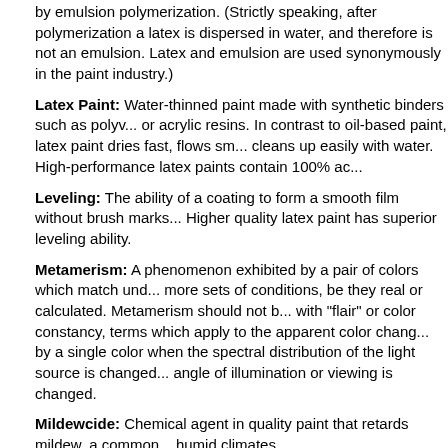by emulsion polymerization. (Strictly speaking, after polymerization a latex is dispersed in water, and therefore is not an emulsion. Latex and emulsion are used synonymously in the paint industry.)
Latex Paint: Water-thinned paint made with synthetic binders such as polyvinyl or acrylic resins. In contrast to oil-based paint, latex paint dries fast, flows smoothly, cleans up easily with water. High-performance latex paints contain 100% ac...
Leveling: The ability of a coating to form a smooth film without brush marks. Higher quality latex paint has superior leveling ability.
Metamerism: A phenomenon exhibited by a pair of colors which match under one or more sets of conditions, be they real or calculated. Metamerism should not be confused with "flair" or color constancy, terms which apply to the apparent color change exhibited by a single color when the spectral distribution of the light source is changed or the angle of illumination or viewing is changed.
Mildewcide: Chemical agent in quality paint that retards mildew, a common problem in humid climates.
Peeling: The detachment of paint from the surface in ribbons or sheets. Like blistering, a result of loss of adhesion. Pigment: Finely ground, natural or synthetic, inorganic or organic, insoluble dispersed particles (powder) which, when dispersed in a liquid vehicle to make paint, may provide, in addition to color, many of the essential properties of paint: opacity, hardness, durability, and corrosion resistance. The term is...